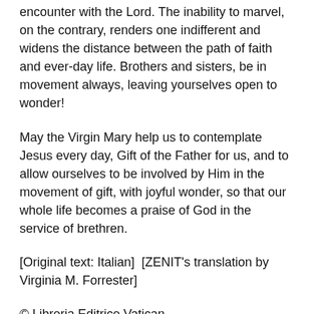encounter with the Lord. The inability to marvel, on the contrary, renders one indifferent and widens the distance between the path of faith and ever-day life. Brothers and sisters, be in movement always, leaving yourselves open to wonder!
May the Virgin Mary help us to contemplate Jesus every day, Gift of the Father for us, and to allow ourselves to be involved by Him in the movement of gift, with joyful wonder, so that our whole life becomes a praise of God in the service of brethren.
[Original text: Italian]  [ZENIT's translation by Virginia M. Forrester]
© Libreria Editrice Vatican